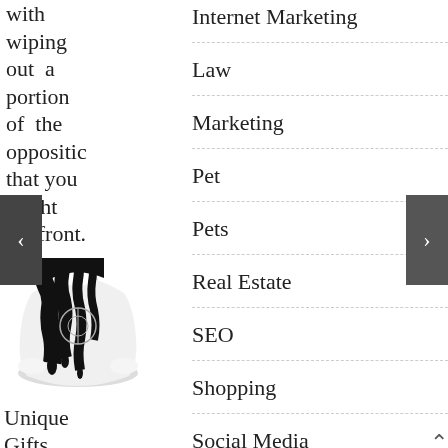with wiping out a portion of the opposition that you might confront.
[Figure (photo): A black and white hoodie product photo with black paint dripping effect]
Unique Gifts
Individual hoodies
Internet Marketing
Law
Marketing
Pet
Pets
Real Estate
SEO
Shopping
Social Media
Software